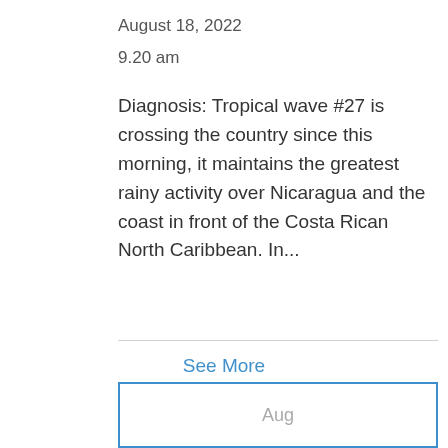August 18, 2022
9.20 am
Diagnosis: Tropical wave #27 is crossing the country since this morning, it maintains the greatest rainy activity over Nicaragua and the coast in front of the Costa Rican North Caribbean. In...
See More
Aug